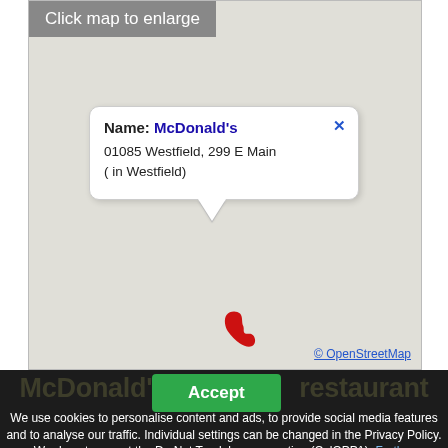[Figure (map): Interactive map showing McDonald's location at 01085 Westfield, 299 E Main (in Westfield), with a popup tooltip and a red phone marker icon. Gray 'Click map to enlarge' banner at top-left. OpenStreetMap attribution at bottom-right.]
Click map to enlarge
Name: McDonald's
01085 Westfield, 299 E Main
( in Westfield)
© OpenStreetMap
McDonald's Fast Food restaurant
Accept
We use cookies to personalise content and ads, to provide social media features and to analyse our traffic. Individual settings can be changed in the Privacy Policy. We do not support the Do Not Track browser option (CalOPPA). Further Information